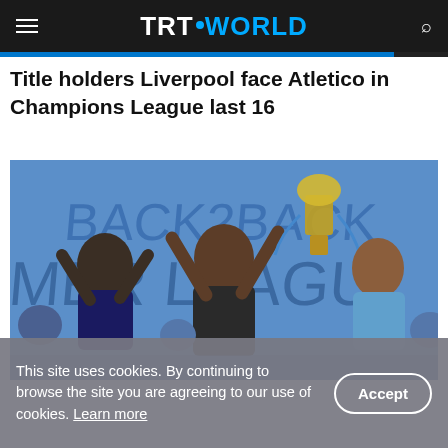TRT WORLD
Title holders Liverpool face Atletico in Champions League last 16
[Figure (photo): Football players and staff celebrating, one person holding the Premier League trophy aloft, with 'Back2Back' banner visible in background]
This site uses cookies. By continuing to browse the site you are agreeing to our use of cookies. Learn more